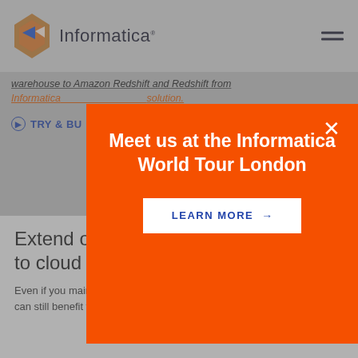[Figure (logo): Informatica logo with orange/brown diamond shape and blue arrow, with text 'Informatica']
warehouse to Amazon Redshift and Redshift from
Informatica ... solution.
TRY & BU...
[Figure (screenshot): Orange modal popup overlay on grey background reading 'Meet us at the Informatica World Tour London' with a 'LEARN MORE →' button and X close button]
Extend on-premises data warehousing to cloud
Even if you maintain your enterprise data warehouse on premises, you can still benefit from extending it to the cloud